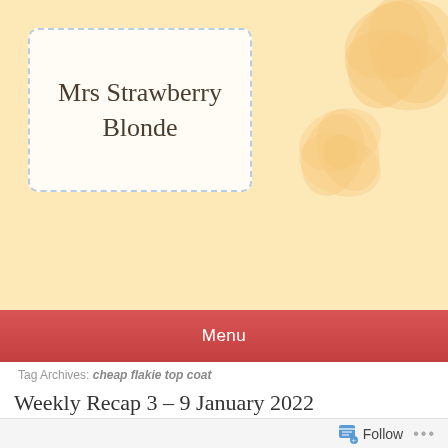Mrs Strawberry Blonde
Menu
Tag Archives: cheap flakie top coat
Weekly Recap 3 – 9 January 2022
JANUARY 9, 2022   WEEKLY RECAP   LEAVE A COMMENT
Hi there! Happy Sunday! Today's post is about all the posts I've written this past week = my weekly blog recap. And here are the posts.